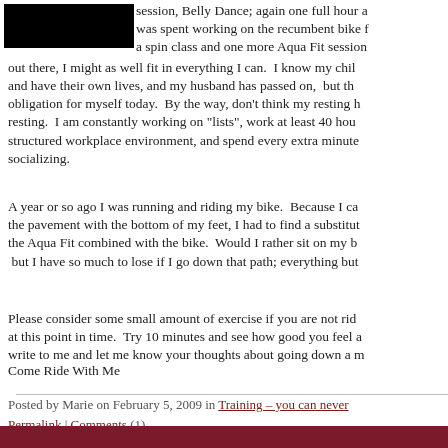[Figure (photo): Black redacted image block in top left]
session, Belly Dance; again one full hour a was spent working on the recumbent bike f a spin class and one more Aqua Fit session out there, I might as well fit in everything I can. I know my chil and have their own lives, and my husband has passed on, but th obligation for myself today. By the way, don't think my resting h resting. I am constantly working on "lists", work at least 40 hou structured workplace environment, and spend every extra minute socializing.
A year or so ago I was running and riding my bike. Because I ca the pavement with the bottom of my feet, I had to find a substitut the Aqua Fit combined with the bike. Would I rather sit on my b but I have so much to lose if I go down that path; everything but
Please consider some small amount of exercise if you are not rid at this point in time. Try 10 minutes and see how good you feel a write to me and let me know your thoughts about going down a m
Come Ride With Me
Posted by Marie on February 5, 2009 in Training - you can never | Permalink | Comments (1)